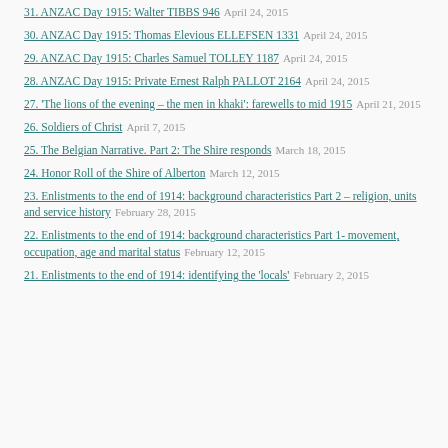31. ANZAC Day 1915: Walter TIBBS 946 — April 24, 2015
30. ANZAC Day 1915: Thomas Elevious ELLEFSEN 1331 — April 24, 2015
29. ANZAC Day 1915: Charles Samuel TOLLEY 1187 — April 24, 2015
28. ANZAC Day 1915: Private Ernest Ralph PALLOT 2164 — April 24, 2015
27. 'The lions of the evening – the men in khaki': farewells to mid 1915 — April 21, 2015
26. Soldiers of Christ — April 7, 2015
25. The Belgian Narrative. Part 2: The Shire responds — March 18, 2015
24. Honor Roll of the Shire of Alberton — March 12, 2015
23. Enlistments to the end of 1914: background characteristics Part 2 – religion, units and service history — February 28, 2015
22. Enlistments to the end of 1914: background characteristics Part 1- movement, occupation, age and marital status — February 12, 2015
21. Enlistments to the end of 1914: identifying the 'locals' — February 2, 2015